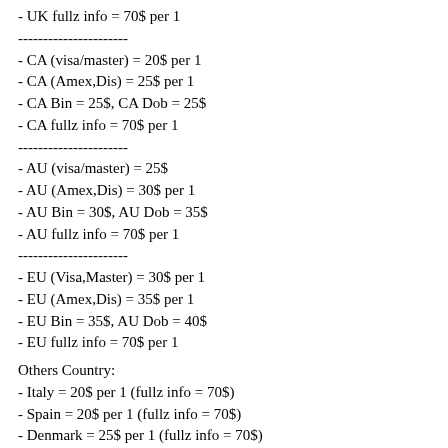- UK fullz info = 70$ per 1
----------------------
- CA (visa/master) = 20$ per 1
- CA (Amex,Dis) = 25$ per 1
- CA Bin = 25$, CA Dob = 25$
- CA fullz info = 70$ per 1
----------------------
- AU (visa/master) = 25$
- AU (Amex,Dis) = 30$ per 1
- AU Bin = 30$, AU Dob = 35$
- AU fullz info = 70$ per 1
----------------------
- EU (Visa,Master) = 30$ per 1
- EU (Amex,Dis) = 35$ per 1
- EU Bin = 35$, AU Dob = 40$
- EU fullz info = 70$ per 1
Others Country:
- Italy = 20$ per 1 (fullz info = 70$)
- Spain = 20$ per 1 (fullz info = 70$)
- Denmark = 25$ per 1 (fullz info = 70$)
- Sweden = 20$ per 1 (fullz info = 70$)
- France = 20$ per 1 (fullz info = 70$)
- Germany = 20$ per 1 (fullz info = 70$)
- Ireland = 20$ per 1 (fullz info = 70$)